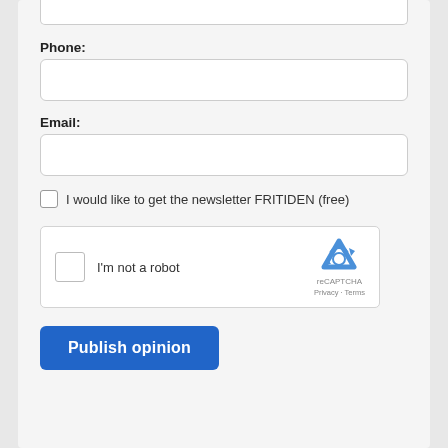Phone:
Email:
I would like to get the newsletter FRITIDEN (free)
[Figure (screenshot): reCAPTCHA widget with checkbox, 'I'm not a robot' text, reCAPTCHA logo, Privacy and Terms links]
Publish opinion